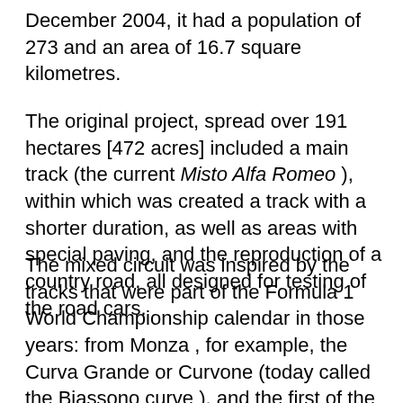December 2004, it had a population of 273 and an area of 16.7 square kilometres.
The original project, spread over 191 hectares [472 acres] included a main track (the current Misto Alfa Romeo ), within which was created a track with a shorter duration, as well as areas with special paving, and the reproduction of a country road, all designed for testing of the road cars.
The mixed circuit was inspired by the tracks that were part of the Formula 1 World Championship calendar in those years: from Monza , for example, the Curva Grande or Curvone (today called the Biassono curve ), and the first of the two curves were copied by Lesmo, while the design of the Hugenholtzboch hairpin was borrowed from Zandvoort . This route was inaugurated and went into operation in 1963.